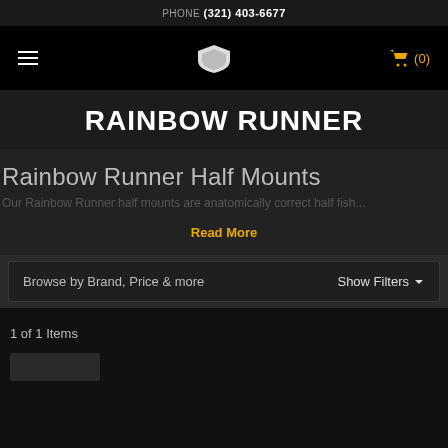PHONE (321) 403-6677
[Figure (screenshot): Navigation bar with hamburger menu, shield logo icon, and gold shopping cart icon showing (0) items]
RAINBOW RUNNER
Rainbow Runner Half Mounts
Our Rainbow Runner half mounts are anatomically correct half fish...
Read More
Browse by Brand, Price & more    Show Filters
1 of 1 Items